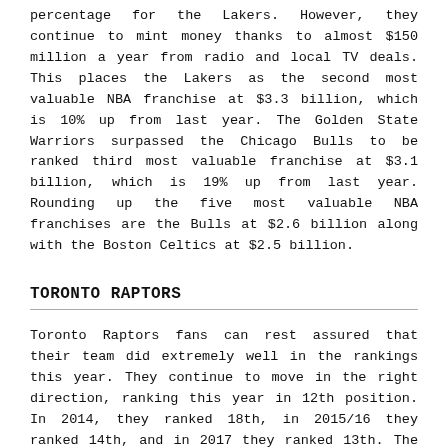percentage for the Lakers. However, they continue to mint money thanks to almost $150 million a year from radio and local TV deals. This places the Lakers as the second most valuable NBA franchise at $3.3 billion, which is 10% up from last year. The Golden State Warriors surpassed the Chicago Bulls to be ranked third most valuable franchise at $3.1 billion, which is 19% up from last year. Rounding up the five most valuable NBA franchises are the Bulls at $2.6 billion along with the Boston Celtics at $2.5 billion.
TORONTO RAPTORS
Toronto Raptors fans can rest assured that their team did extremely well in the rankings this year. They continue to move in the right direction, ranking this year in 12th position. In 2014, they ranked 18th, in 2015/16 they ranked 14th, and in 2017 they ranked 13th. The Toronto Raptors have been assisted financially, going on the most consistent and best run in franchise history. In the last 4 campaigns, the Raptors set regular season win records on 3 occasions, clinching three Atlantic division titles as well as qualify for the playoffs 4 times. They are currently valued at $1.4 billion, which is 8% up from last year. This will